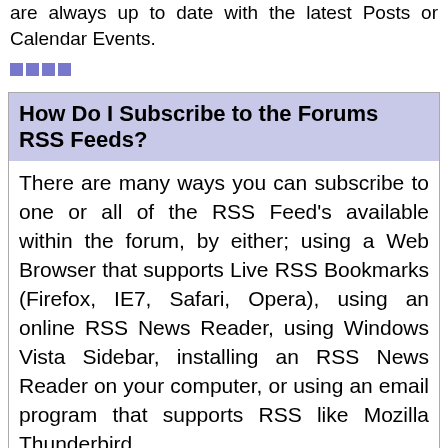are always up to date with the latest Posts or Calendar Events.
■■■■
How Do I Subscribe to the Forums RSS Feeds?
There are many ways you can subscribe to one or all of the RSS Feed's available within the forum, by either; using a Web Browser that supports Live RSS Bookmarks (Firefox, IE7, Safari, Opera), using an online RSS News Reader, using Windows Vista Sidebar, installing an RSS News Reader on your computer, or using an email program that supports RSS like Mozilla Thunderbird.
■■■■
Calendar System